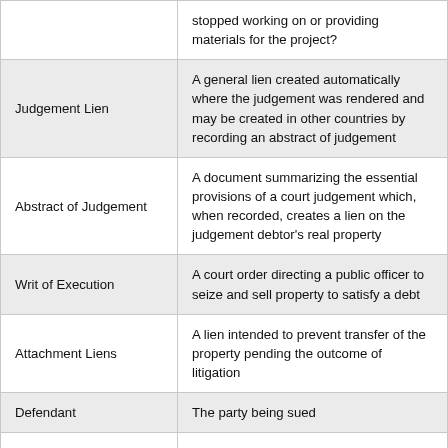| Term | Definition |
| --- | --- |
|  | stopped working on or providing materials for the project? |
| Judgement Lien | A general lien created automatically where the judgement was rendered and may be created in other countries by recording an abstract of judgement |
| Abstract of Judgement | A document summarizing the essential provisions of a court judgement which, when recorded, creates a lien on the judgement debtor's real property |
| Writ of Execution | A court order directing a public officer to seize and sell property to satisfy a debt |
| Attachment Liens | A lien intended to prevent transfer of the property pending the outcome of litigation |
| Defendant | The party being sued |
| Plaintiff | The party who started the lawsuit |
| Writ of Attachment | Directs the sheriff to attach enough of the defendant's property to satisfy the judgement the plaintiff is seeking |
|  | When a lawsuit that may affect title to |